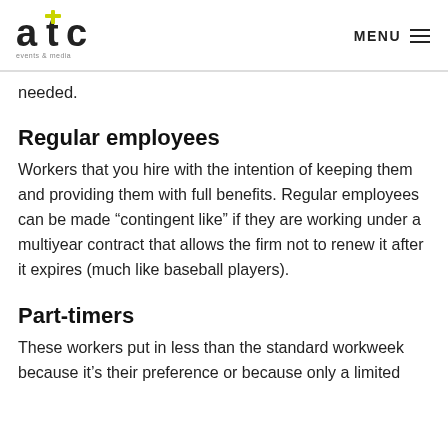atc events & media | MENU
needed.
Regular employees
Workers that you hire with the intention of keeping them and providing them with full benefits. Regular employees can be made “contingent like” if they are working under a multiyear contract that allows the firm not to renew it after it expires (much like baseball players).
Part-timers
These workers put in less than the standard workweek because it’s their preference or because only a limited